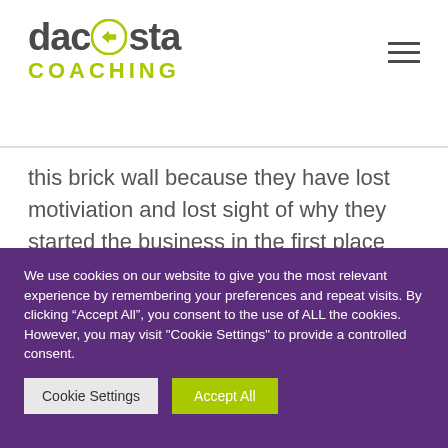dacosta COACHING
this brick wall because they have lost motiviation and lost sight of why they started the business in the first place because the day to day activities have de focused them.
2. Build the foundations
We use cookies on our website to give you the most relevant experience by remembering your preferences and repeat visits. By clicking “Accept All”, you consent to the use of ALL the cookies. However, you may visit "Cookie Settings" to provide a controlled consent.